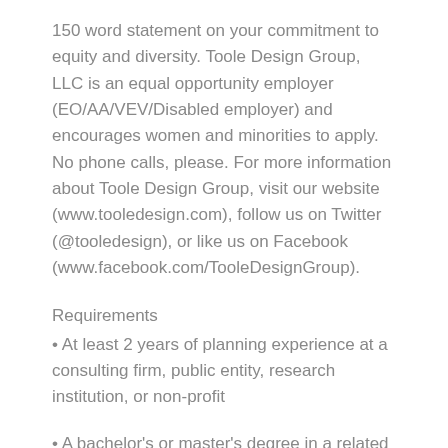150 word statement on your commitment to equity and diversity. Toole Design Group, LLC is an equal opportunity employer (EO/AA/VEV/Disabled employer) and encourages women and minorities to apply. No phone calls, please. For more information about Toole Design Group, visit our website (www.tooledesign.com), follow us on Twitter (@tooledesign), or like us on Facebook (www.facebook.com/TooleDesignGroup).
Requirements
• At least 2 years of planning experience at a consulting firm, public entity, research institution, or non-profit
• A bachelor's or master's degree in a related field or additional work experience